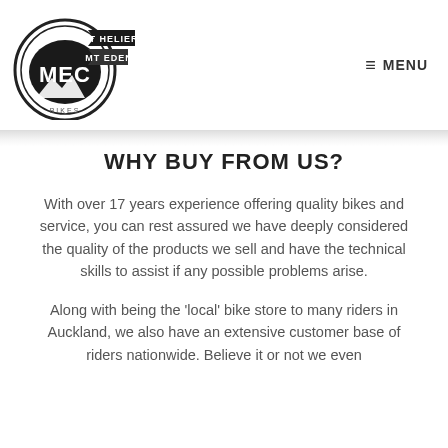[Figure (logo): MEC Bikes logo — circular black and white badge with 'MEC' in center, mountain silhouette below, and two black banner tags reading 'ST HELIERS' and 'MT EDEN']
≡ MENU
WHY BUY FROM US?
With over 17 years experience offering quality bikes and service, you can rest assured we have deeply considered the quality of the products we sell and have the technical skills to assist if any possible problems arise.
Along with being the 'local' bike store to many riders in Auckland, we also have an extensive customer base of riders nationwide. Believe it or not we even